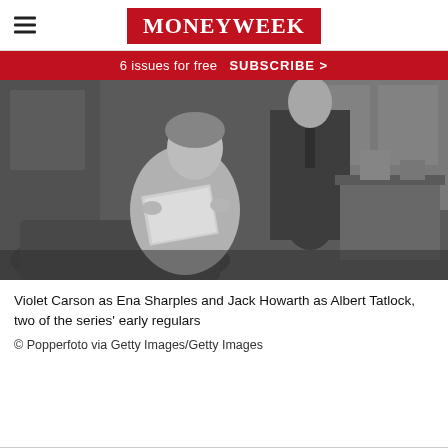MoneyWeek
6 issues for free   SUBSCRIBE >
[Figure (photo): Black and white photograph of Violet Carson as Ena Sharples and Jack Howarth as Albert Tatlock, two of the series' early regulars, sitting in a living room scene]
Violet Carson as Ena Sharples and Jack Howarth as Albert Tatlock, two of the series' early regulars
© Popperfoto via Getty Images/Getty Images